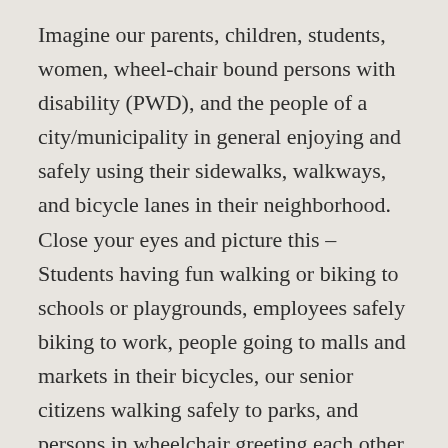Imagine our parents, children, students, women, wheel-chair bound persons with disability (PWD), and the people of a city/municipality in general enjoying and safely using their sidewalks, walkways, and bicycle lanes in their neighborhood. Close your eyes and picture this – Students having fun walking or biking to schools or playgrounds, employees safely biking to work, people going to malls and markets in their bicycles, our senior citizens walking safely to parks, and persons in wheelchair greeting each other in an accessible and safe pedestrian space. As planners, what can we do to somehow come close to this ideal place?
The City Department of Lorem Ipsum founded...